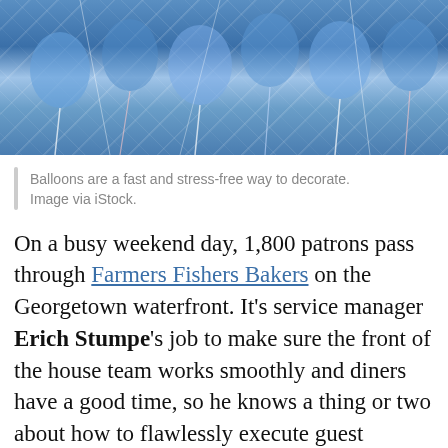[Figure (photo): Balloons and streamers decorative photo, blue tones]
Balloons are a fast and stress-free way to decorate. Image via iStock.
On a busy weekend day, 1,800 patrons pass through Farmers Fishers Bakers on the Georgetown waterfront. It’s service manager Erich Stumpe’s job to make sure the front of the house team works smoothly and diners have a good time, so he knows a thing or two about how to flawlessly execute guest experiences. If you’re feeling overwhelmed at